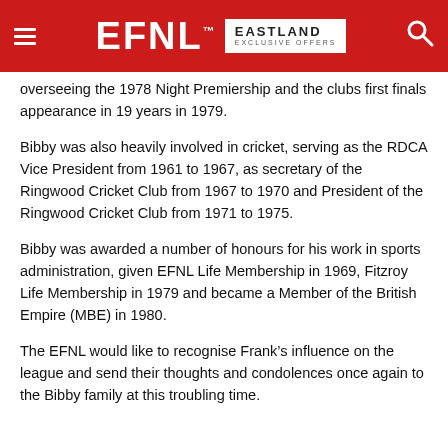EFNL | EASTLAND EXCLUSIVE OFFERS
overseeing the 1978 Night Premiership and the clubs first finals appearance in 19 years in 1979.
Bibby was also heavily involved in cricket, serving as the RDCA Vice President from 1961 to 1967, as secretary of the Ringwood Cricket Club from 1967 to 1970 and President of the Ringwood Cricket Club from 1971 to 1975.
Bibby was awarded a number of honours for his work in sports administration, given EFNL Life Membership in 1969, Fitzroy Life Membership in 1979 and became a Member of the British Empire (MBE) in 1980.
The EFNL would like to recognise Frank’s influence on the league and send their thoughts and condolences once again to the Bibby family at this troubling time.